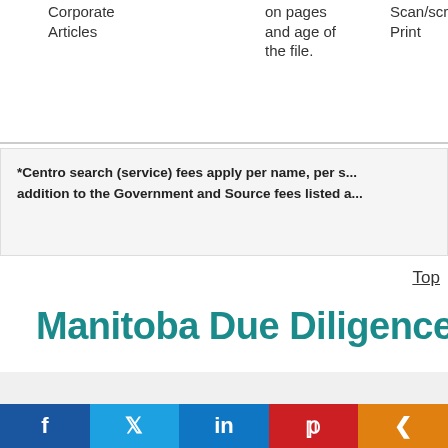| Manitoba Search | Source Fees | Government & ... | Report Format |
| --- | --- | --- | --- |
| Corporate Articles | on pages and age of the file. | Scan/scr... Print |  |
*Centro search (service) fees apply per name, per s... addition to the Government and Source fees listed a...
Top
Manitoba Due Diligence
| Manitoba Search | Source Fees | Government & | Report Format |
| --- | --- | --- | --- |